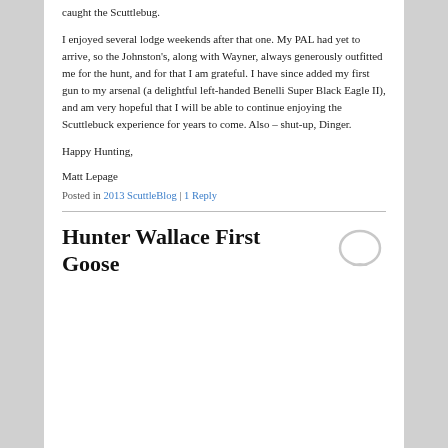caught the Scuttlebug.
I enjoyed several lodge weekends after that one. My PAL had yet to arrive, so the Johnston's, along with Wayner, always generously outfitted me for the hunt, and for that I am grateful. I have since added my first gun to my arsenal (a delightful left-handed Benelli Super Black Eagle II), and am very hopeful that I will be able to continue enjoying the Scuttlebuck experience for years to come. Also – shut-up, Dinger.
Happy Hunting,
Matt Lepage
Posted in 2013 ScuttleBlog | 1 Reply
Hunter Wallace First Goose